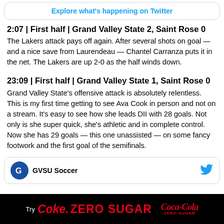[Figure (screenshot): Twitter card with link: Explore what's happening on Twitter]
2:07 | First half | Grand Valley State 2, Saint Rose 0
The Lakers attack pays off again. After several shots on goal — and a nice save from Laurendeau — Chantel Carranza puts it in the net. The Lakers are up 2-0 as the half winds down.
23:09 | First half | Grand Valley State 1, Saint Rose 0
Grand Valley State's offensive attack is absolutely relentless. This is my first time getting to see Ava Cook in person and not on a stream. It's easy to see how she leads DII with 28 goals. Not only is she super quick, she's athletic and in complete control. Now she has 29 goals — this one unassisted — on some fancy footwork and the first goal of the semifinals.
[Figure (screenshot): Tweet preview card with GVSU Soccer account icon and Twitter bird logo]
[Figure (other): Advertisement bar: Try Coke Zero Sugar with Coca-Cola Zero Sugar logo]